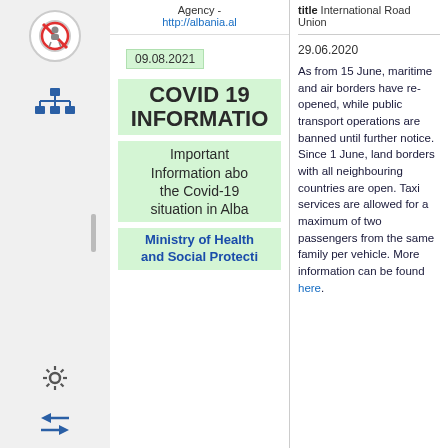[Figure (illustration): Sidebar with icons: no-entry circle icon, tree/hierarchy icon, vertical divider bar, gear icon, double-arrow icon]
Agency - http://albania.al
title International Road Union
09.08.2021
COVID 19 INFORMATIO
Important Information about the Covid-19 situation in Albania
Ministry of Health and Social Protection
29.06.2020
As from 15 June, maritime and air borders have re-opened, while public transport operations are banned until further notice. Since 1 June, land borders with all neighbouring countries are open. Taxi services are allowed for a maximum of two passengers from the same family per vehicle. More information can be found here.